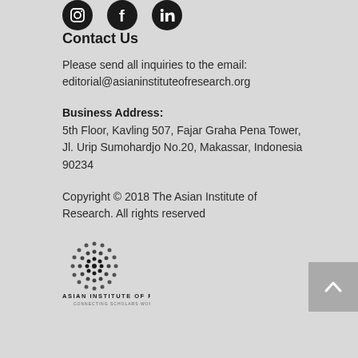[Figure (illustration): Three social media icons: Instagram, Facebook, LinkedIn in black circle style]
Contact Us
Please send all inquiries to the email: editorial@asianinstituteofresearch.org
Business Address:
5th Floor, Kavling 507, Fajar Graha Pena Tower, Jl. Urip Sumohardjo No.20, Makassar, Indonesia 90234
Copyright © 2018 The Asian Institute of Research. All rights reserved
[Figure (logo): Asian Institute of Research logo — globe made of dots, text ASIAN INSTITUTE OF RESEARCH, tagline CONNECTING SCHOLARS WORLDWIDE]
[Figure (other): Back to top button with upward chevron arrow on grey background]